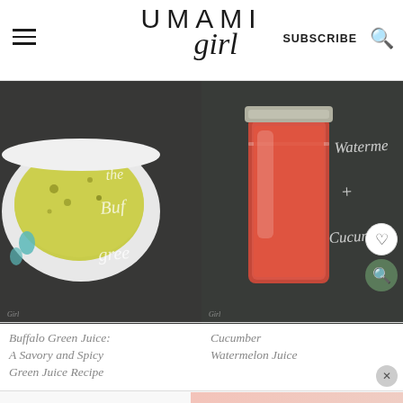UMAMI girl — SUBSCRIBE (search icon)
[Figure (photo): Close-up photo of a bowl of green juice (yellow-green liquid in a white bowl with teal polka dots) on a dark chalkboard background with chalk handwriting partially visible: 'Buffalo Green']
[Figure (photo): Photo of a mason jar filled with pink-red watermelon juice on a dark chalkboard background with chalk handwriting partially visible: 'Watermelon + Cucumber']
Buffalo Green Juice: A Savory and Spicy Green Juice Recipe
Cucumber Watermelon Juice